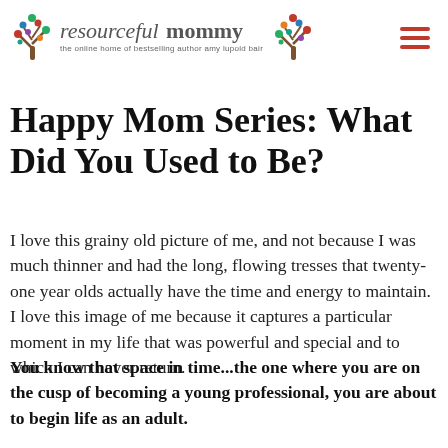resourceful mommy – the online home of bestselling author amy lupold bair
Happy Mom Series: What Did You Used to Be?
I love this grainy old picture of me, and not because I was much thinner and had the long, flowing tresses that twenty-one year olds actually have the time and energy to maintain.  I love this image of me because it captures a particular moment in my life that was powerful and special and to which I can never return.
You know that space in time...the one where you are on the cusp of becoming a young professional, you are about to begin life as an adult.